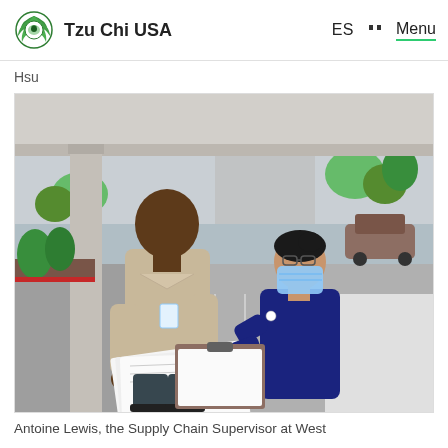Tzu Chi USA  ES  Menu
Hsu
[Figure (photo): Two people standing outdoors under a covered entrance. A tall man in a tan jacket wearing an ID badge holds papers, while a shorter woman in a dark navy jacket wearing a blue surgical mask hands him documents on a clipboard. Trees, landscaping, and a parking lot are visible in the background.]
Antoine Lewis, the Supply Chain Supervisor at West